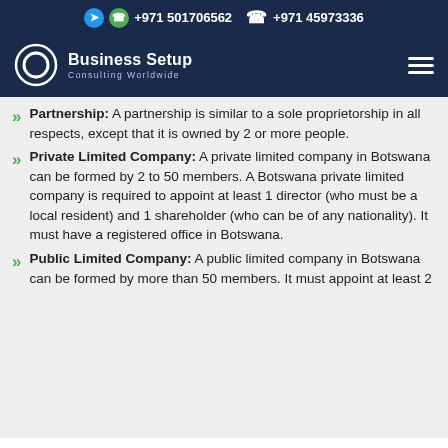+971 501706562  +971 45973336
Business Setup Consulting Worldwide
Partnership: A partnership is similar to a sole proprietorship in all respects, except that it is owned by 2 or more people.
Private Limited Company: A private limited company in Botswana can be formed by 2 to 50 members. A Botswana private limited company is required to appoint at least 1 director (who must be a local resident) and 1 shareholder (who can be of any nationality). It must have a registered office in Botswana.
Public Limited Company: A public limited company in Botswana can be formed by more than 50 members. It must appoint at least 2